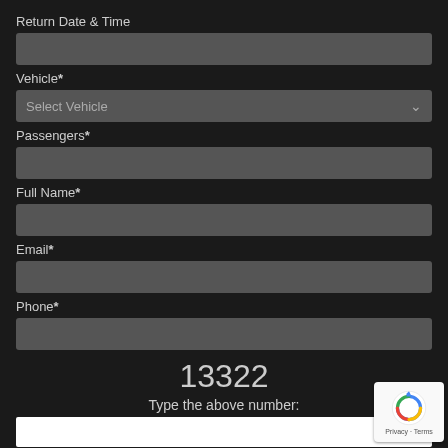Return Date & Time
Vehicle*
Passengers*
Full Name*
Email*
Phone*
13322
Type the above number:
[Figure (logo): reCAPTCHA badge with circular arrow icon and Privacy - Terms text]